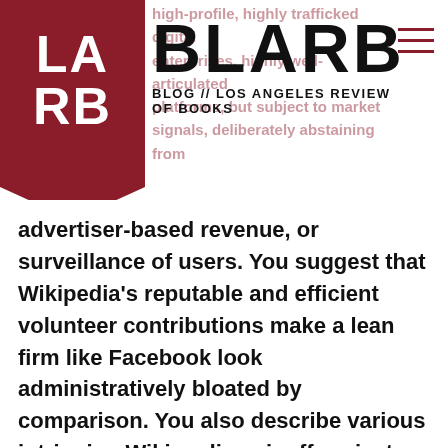BLARB
BLOG // LOS ANGELES REVIEW OF BOOKS
advertiser-based revenue, or surveillance of users. You suggest that Wikipedia's reputable and efficient volunteer contributions make a lean firm like Facebook look administratively bloated by comparison. You also describe various intriguing Wikimedia spinoff projects, while acknowledging a lack of such striking successes outside the encyclopedia domain. So what further possible horizons might this Wikipedia model point towards, particularly if innovative platform designers commit to building outside the logic of commercial markets and “practical” operational plans (narrowly